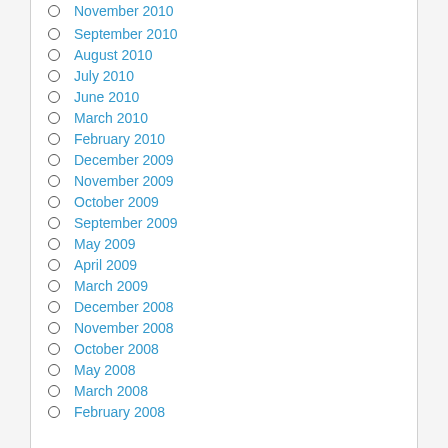November 2010
September 2010
August 2010
July 2010
June 2010
March 2010
February 2010
December 2009
November 2009
October 2009
September 2009
May 2009
April 2009
March 2009
December 2008
November 2008
October 2008
May 2008
March 2008
February 2008